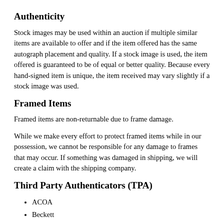Authenticity
Stock images may be used within an auction if multiple similar items are available to offer and if the item offered has the same autograph placement and quality. If a stock image is used, the item offered is guaranteed to be of equal or better quality. Because every hand-signed item is unique, the item received may vary slightly if a stock image was used.
Framed Items
Framed items are non-returnable due to frame damage.
While we make every effort to protect framed items while in our possession, we cannot be responsible for any damage to frames that may occur. If something was damaged in shipping, we will create a claim with the shipping company.
Third Party Authenticators (TPA)
ACOA
Beckett
CBCS
CGC